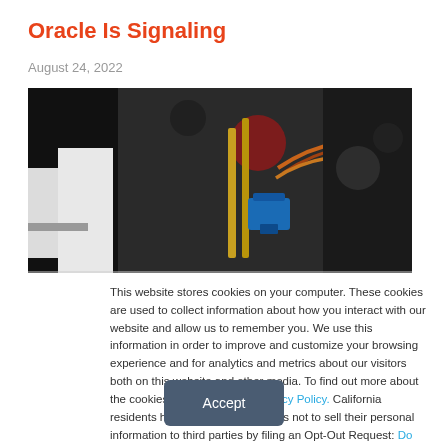Oracle Is Signaling
August 24, 2022
[Figure (photo): Close-up photo of electronic/mechanical equipment with wires, a blue servo motor, and metallic components against a dark blurred background]
This website stores cookies on your computer. These cookies are used to collect information about how you interact with our website and allow us to remember you. We use this information in order to improve and customize your browsing experience and for analytics and metrics about our visitors both on this website and other media. To find out more about the cookies we use, see our Privacy Policy. California residents have the right to direct us not to sell their personal information to third parties by filing an Opt-Out Request: Do Not Sell My Personal Info.
Accept